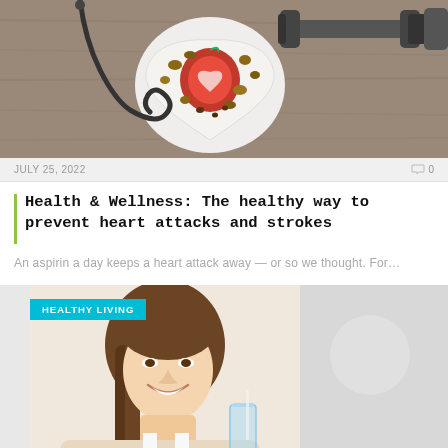[Figure (photo): Overhead view of heart-shaped plate with apple carved into heart, nuts, and other foods, alongside a stethoscope and dumbbell on a wooden surface]
JULY 25, 2022
0
Health & Wellness: The healthy way to prevent heart attacks and strokes
An aspirin a day keeps a heart attack away — or so we thought. For…
[Figure (photo): Smiling young woman with long brown hair holding a glass of water, with HEALTHY LIVING category badge overlay]
HEALTHY LIVING